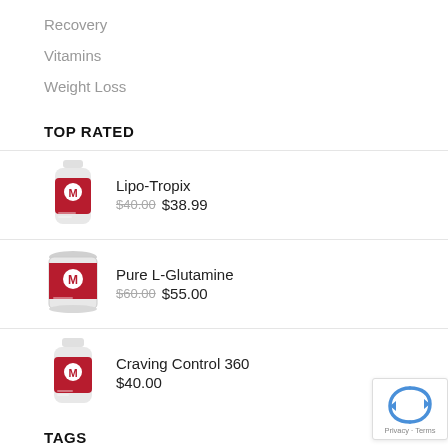Recovery
Vitamins
Weight Loss
TOP RATED
Lipo-Tropix $40.00 $38.99
Pure L-Glutamine $60.00 $55.00
Craving Control 360 $40.00
TAGS